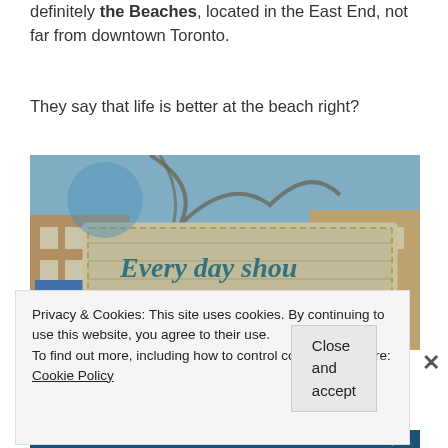definitely the Beaches, located in the East End, not far from downtown Toronto.
They say that life is better at the beach right?
[Figure (photo): Photo of a wooden sign reading 'Every day shou[ld] be a BEACH day' with rope border, overlaid with reflection of street scene including a blue-awning shop called Pippins and brick buildings.]
Privacy & Cookies: This site uses cookies. By continuing to use this website, you agree to their use.
To find out more, including how to control cookies, see here: Cookie Policy
Close and accept